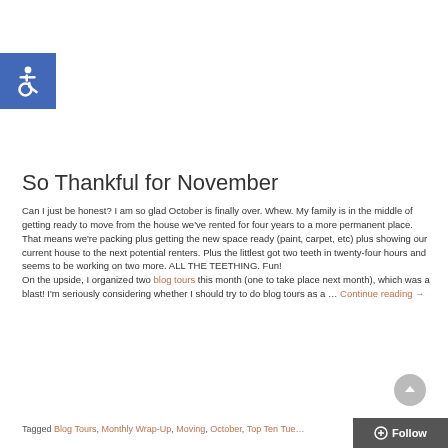[Figure (logo): Blue square with white wheelchair accessibility icon]
So Thankful for November
Can I just be honest? I am so glad October is finally over. Whew. My family is in the middle of getting ready to move from the house we've rented for four years to a more permanent place. That means we're packing plus getting the new space ready (paint, carpet, etc) plus showing our current house to the next potential renters. Plus the littlest got two teeth in twenty-four hours and seems to be working on two more. ALL THE TEETHING. Fun!
On the upside, I organized two blog tours this month (one to take place next month), which was a blast! I'm seriously considering whether I should try to do blog tours as a … Continue reading →
Tagged Blog Tours, Monthly Wrap-Up, Moving, October, Top Ten Tue…